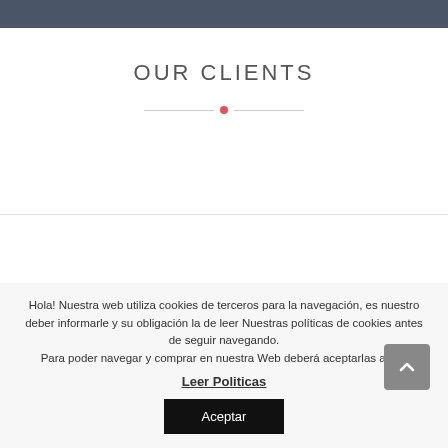OUR CLIENTS
Hola! Nuestra web utiliza cookies de terceros para la navegación, es nuestro deber informarle y su obligación la de leer Nuestras políticas de cookies antes de seguir navegando.
Para poder navegar y comprar en nuestra Web deberá aceptarlas antes
Leer Politicas
Aceptar